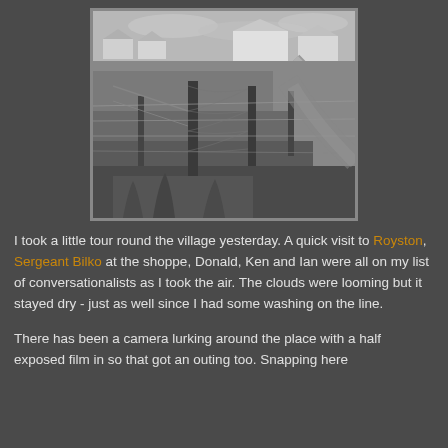[Figure (photo): Black and white photograph of a rural village scene with a wire fence and fence posts in the foreground, overgrown grass, and houses visible in the background along a road.]
I took a little tour round the village yesterday. A quick visit to Royston, Sergeant Bilko at the shoppe, Donald, Ken and Ian were all on my list of conversationalists as I took the air. The clouds were looming but it stayed dry - just as well since I had some washing on the line.
There has been a camera lurking around the place with a half exposed film in so that got an outing too. Snapping here